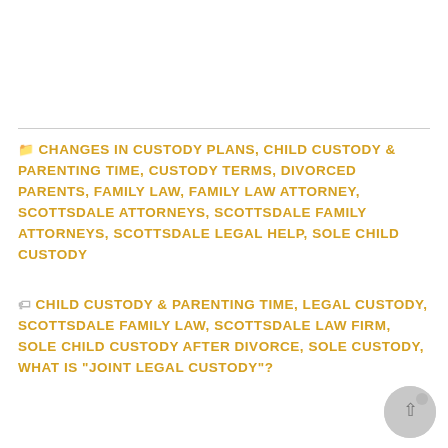CHANGES IN CUSTODY PLANS, CHILD CUSTODY & PARENTING TIME, CUSTODY TERMS, DIVORCED PARENTS, FAMILY LAW, FAMILY LAW ATTORNEY, SCOTTSDALE ATTORNEYS, SCOTTSDALE FAMILY ATTORNEYS, SCOTTSDALE LEGAL HELP, SOLE CHILD CUSTODY
CHILD CUSTODY & PARENTING TIME, LEGAL CUSTODY, SCOTTSDALE FAMILY LAW, SCOTTSDALE LAW FIRM, SOLE CHILD CUSTODY AFTER DIVORCE, SOLE CUSTODY, WHAT IS "JOINT LEGAL CUSTODY"?